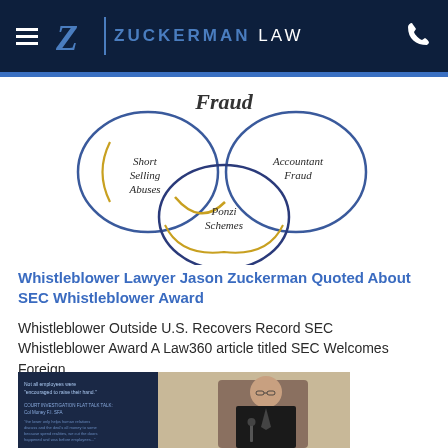Zuckerman Law
[Figure (infographic): Venn-style diagram showing overlapping circles labeled: Fraud (top, italic), Short Selling Abuses (left circle), Accountant Fraud (right circle), Ponzi Schemes (bottom center circle). Circles have blue and gold/yellow outlines on white background.]
Whistleblower Lawyer Jason Zuckerman Quoted About SEC Whistleblower Award
Whistleblower Outside U.S. Recovers Record SEC Whistleblower Award A Law360 article titled SEC Welcomes Foreign…
[Figure (photo): Photo of a man in a dark suit and tie speaking at a podium or lectern, with a presentation slide visible behind him on a blue-tinted screen showing text about employees.]